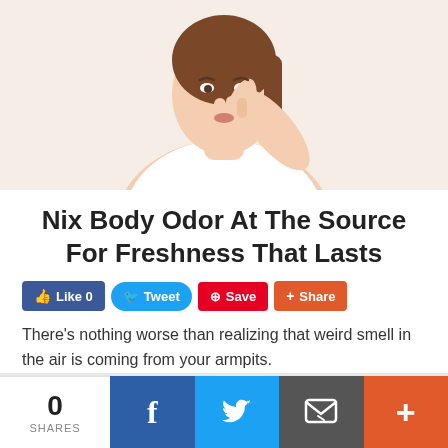[Figure (photo): Woman pinching her nose shut with her fingers, wearing a white tank top, white background]
Nix Body Odor At The Source For Freshness That Lasts
There's nothing worse than realizing that weird smell in the air is coming from your armpits.
0 SHARES | Facebook | Twitter | Email | More